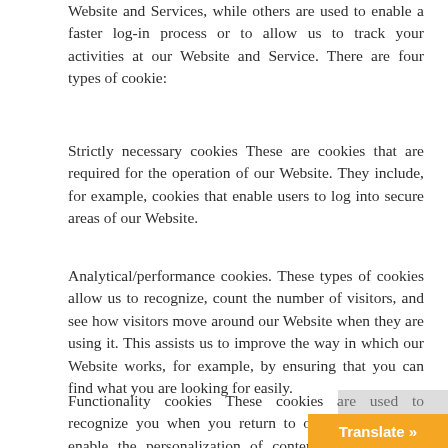Website and Services, while others are used to enable a faster log-in process or to allow us to track your activities at our Website and Service. There are four types of cookie:
Strictly necessary cookies These are cookies that are required for the operation of our Website. They include, for example, cookies that enable users to log into secure areas of our Website.
Analytical/performance cookies. These types of cookies allow us to recognize, count the number of visitors, and see how visitors move around our Website when they are using it. This assists us to improve the way in which our Website works, for example, by ensuring that you can find what you are looking for easily.
Functionality cookies These cookies are used to recognize you when you return to our Website. They enable the personalization of content, recognition of users, and also remember your user example, your choice of language or regi